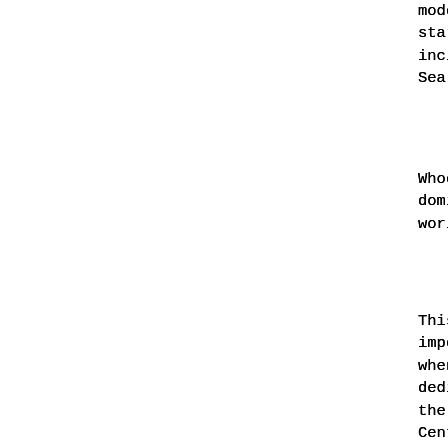modern geo-strategic realiza started shifting and expandin including vast areas in the e Sea, the Caspian Basin, and C
Whoever should come to contro dominate all Eurasia and coul world.
This concept is of great, but importance today as much as i when the Germans had a whole dedicated to Mackinder's conc the Germans too tried to adva Central Asia as the United St
Zbigniew Brzezinski, an influ National Security Advisor, ha about this area and how for t human history there exists a from the Eurasian landmass wh controlling the Eurasian hear monopoly on dominance in his and Its Geo-strategic Imperat
Now, fast tracking to modern Balkans, the Middle East and that Sir Halford Mackinder's hauntingly true as the world